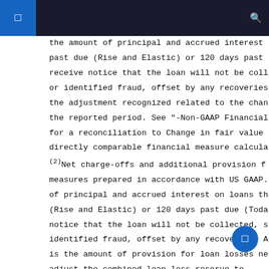the amount of principal and accrued interest past due (Rise and Elastic) or 120 days past receive notice that the loan will not be coll or identified fraud, offset by any recoveries the adjustment recognized related to the chan the reported period. See "-Non-GAAP Financial for a reconciliation to Change in fair value directly comparable financial measure calcula (2)Net charge-offs and additional provision f measures prepared in accordance with US GAAP. of principal and accrued interest on loans th (Rise and Elastic) or 120 days past due (Toda notice that the loan will not be collected, s identified fraud, offset by any recoveries. A is the amount of provision for loan losses ne adjust the combined loan loss reserve to with our underlying loan loss reserve methodo Measures" for more information and for a reco